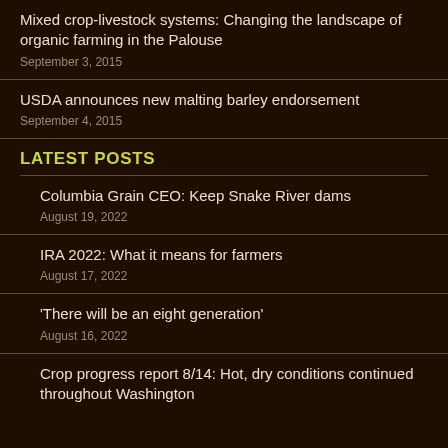Mixed crop-livestock systems: Changing the landscape of organic farming in the Palouse
September 3, 2015
USDA announces new malting barley endorsement
September 4, 2015
LATEST POSTS
Columbia Grain CEO: Keep Snake River dams
August 19, 2022
IRA 2022: What it means for farmers
August 17, 2022
'There will be an eight generation'
August 16, 2022
Crop progress report 8/14: Hot, dry conditions continued throughout Washington